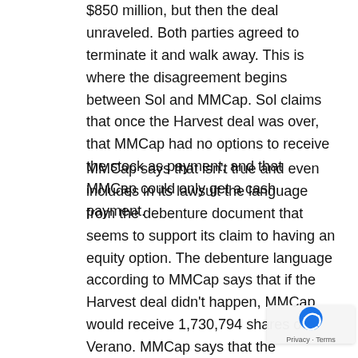$850 million, but then the deal unraveled. Both parties agreed to terminate it and walk away. This is where the disagreement begins between Sol and MMCap. Sol claims that once the Harvest deal was over, that MMCap had no options to receive the stock as payment, and that MMCap could only get a cash payment.
MMCap says that isn't true and even includes in its lawsuit the language from the debenture document that seems to support its claim to having an equity option. The debenture language according to MMCap says that if the Harvest deal didn't happen, MMCap would receive 1,730,794 shares of Verano. MMCap says that the termination of the Harvest deal actually had the opposite effect to what Sol claims. Instead of getting paid in cash, the debenture language says that the termination of the deal meant MMCap would have to accept the Verano shares as payment. At that time, Sol would have been able to walk away from the $50 million debenture by o having to turn over the shares which looked to be wort far less than they are today. MMCap also says in its